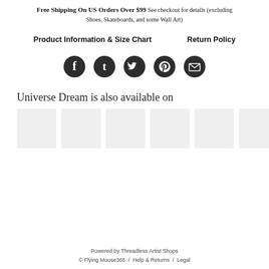Free Shipping On US Orders Over $99 See checkout for details (excluding Shoes, Skateboards, and some Wall Art)
Product Information & Size Chart    Return Policy
[Figure (infographic): Row of five circular social media icon buttons (Facebook, Tumblr, Twitter, Pinterest, Email) in dark gray/black circles]
Universe Dream is also available on
[Figure (other): Row of six light gray placeholder image boxes]
Powered by Threadless Artist Shops
© Flying Mouse365 /  Help & Returns  /  Legal